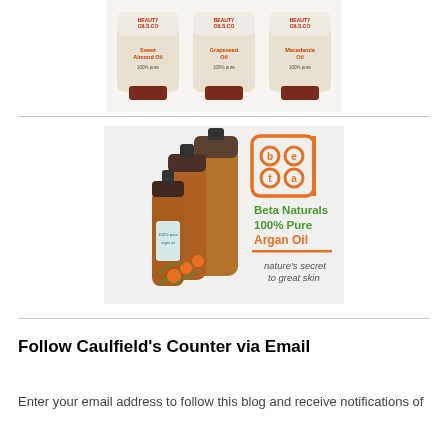[Figure (photo): Three amber bottles of Beauty Oils Co products: Sweet Almond Oil, Grapeseed Oil, and Macadamia Oil, labeled 100% pure]
[Figure (photo): Beta Naturals 100% Pure Argan Oil advertisement showing amber dropper bottles with argan plant illustration and brand logo. Text reads: Beta Naturals 100% Pure Argan Oil, nature's secret to great skin]
Follow Caulfield's Counter via Email
Enter your email address to follow this blog and receive notifications of